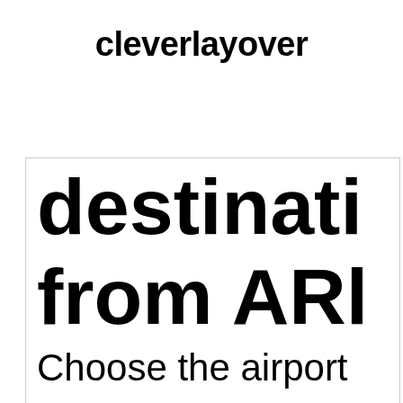cleverlayover
destinati
from ARl
Choose the airport